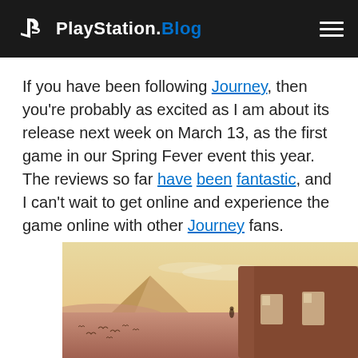PlayStation.Blog
If you have been following Journey, then you're probably as excited as I am about its release next week on March 13, as the first game in our Spring Fever event this year. The reviews so far have been fantastic, and I can't wait to get online and experience the game online with other Journey fans.
[Figure (photo): Screenshot from the game Journey showing a desert landscape with sandstone ruins, pyramid-like formations in the background under a warm hazy sky, with small bird-like silhouettes in the lower portion.]